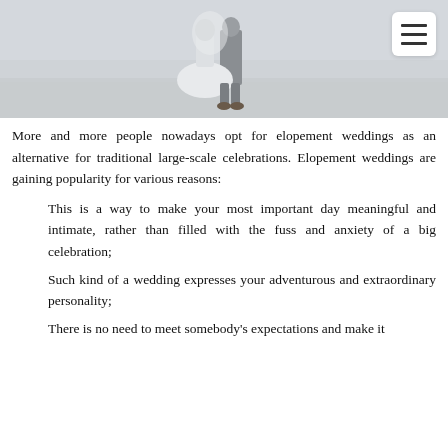[Figure (photo): A couple in wedding attire standing on a beach, slightly obscured. The bride is in a white dress and the groom in a gray suit. A hamburger/menu icon button appears in the top right corner.]
More and more people nowadays opt for elopement weddings as an alternative for traditional large-scale celebrations. Elopement weddings are gaining popularity for various reasons:
This is a way to make your most important day meaningful and intimate, rather than filled with the fuss and anxiety of a big celebration;
Such kind of a wedding expresses your adventurous and extraordinary personality;
There is no need to meet somebody's expectations and make it